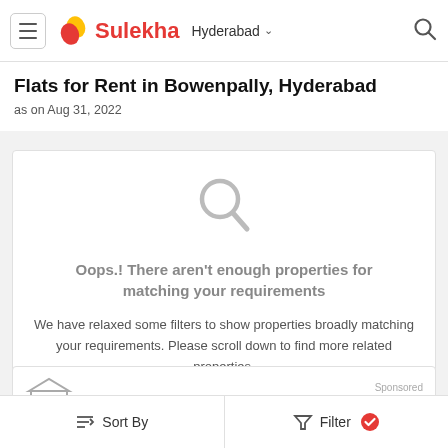Sulekha — Hyderabad
Flats for Rent in Bowenpally, Hyderabad
as on Aug 31, 2022
Oops.! There aren't enough properties for matching your requirements

We have relaxed some filters to show properties broadly matching your requirements. Please scroll down to find more related properties.
Sponsored
2 BHK Residential Apartment for
Sort By   Filter